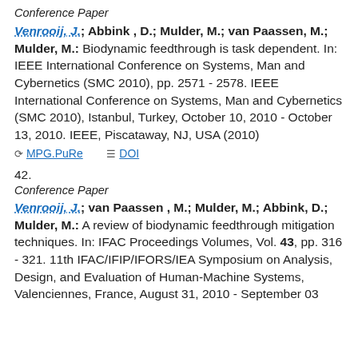Conference Paper
Venrooij, J.; Abbink, D.; Mulder, M.; van Paassen, M.; Mulder, M.: Biodynamic feedthrough is task dependent. In: IEEE International Conference on Systems, Man and Cybernetics (SMC 2010), pp. 2571 - 2578. IEEE International Conference on Systems, Man and Cybernetics (SMC 2010), Istanbul, Turkey, October 10, 2010 - October 13, 2010. IEEE, Piscataway, NJ, USA (2010)
MPG.PuRe   DOI
42.
Conference Paper
Venrooij, J.; van Paassen, M.; Mulder, M.; Abbink, D.; Mulder, M.: A review of biodynamic feedthrough mitigation techniques. In: IFAC Proceedings Volumes, Vol. 43, pp. 316 - 321. 11th IFAC/IFIP/IFORS/IEA Symposium on Analysis, Design, and Evaluation of Human-Machine Systems, Valenciennes, France, August 31, 2010 - September 03